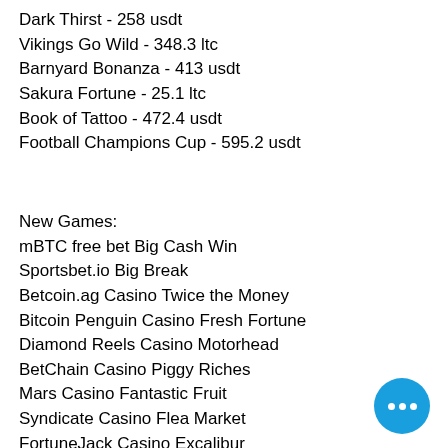Dark Thirst - 258 usdt
Vikings Go Wild - 348.3 ltc
Barnyard Bonanza - 413 usdt
Sakura Fortune - 25.1 ltc
Book of Tattoo - 472.4 usdt
Football Champions Cup - 595.2 usdt
New Games:
mBTC free bet Big Cash Win
Sportsbet.io Big Break
Betcoin.ag Casino Twice the Money
Bitcoin Penguin Casino Fresh Fortune
Diamond Reels Casino Motorhead
BetChain Casino Piggy Riches
Mars Casino Fantastic Fruit
Syndicate Casino Flea Market
FortuneJack Casino Excalibur
Bspin.io Casino Forest Mania
Playamo Casino Fire Bird
CryptoWild Casino Slots Angels